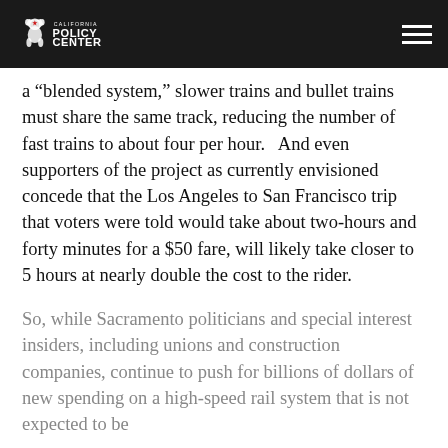California Policy Center
a “blended system,” slower trains and bullet trains must share the same track, reducing the number of fast trains to about four per hour.   And even supporters of the project as currently envisioned concede that the Los Angeles to San Francisco trip that voters were told would take about two-hours and forty minutes for a $50 fare, will likely take closer to 5 hours at nearly double the cost to the rider.
So, while Sacramento politicians and special interest insiders, including unions and construction companies, continue to push for billions of dollars of new spending on a high-speed rail system that is not expected to be complete until after 2033, the communities of interest and the